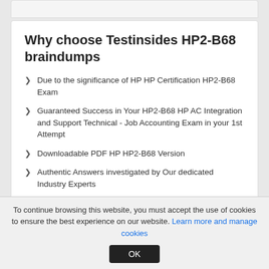Why choose Testinsides HP2-B68 braindumps
Due to the significance of HP HP Certification HP2-B68 Exam
Guaranteed Success in Your HP2-B68 HP AC Integration and Support Technical - Job Accounting Exam in your 1st Attempt
Downloadable PDF HP HP2-B68 Version
Authentic Answers investigated by Our dedicated Industry Experts
You can actually experience as if you are in examination Hall taking the exam
Practice Test Questions combined with exact Dumps
To continue browsing this website, you must accept the use of cookies to ensure the best experience on our website. Learn more and manage cookies